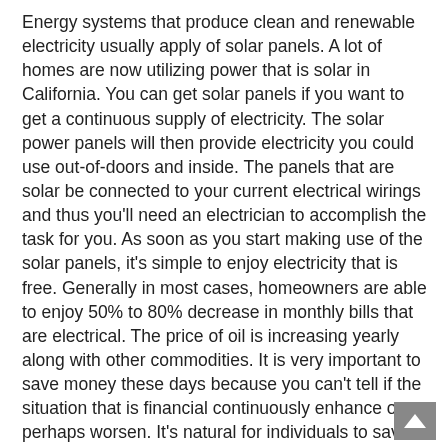Energy systems that produce clean and renewable electricity usually apply of solar panels. A lot of homes are now utilizing power that is solar in California. You can get solar panels if you want to get a continuous supply of electricity. The solar power panels will then provide electricity you could use out-of-doors and inside. The panels that are solar be connected to your current electrical wirings and thus you'll need an electrician to accomplish the task for you. As soon as you start making use of the solar panels, it's simple to enjoy electricity that is free. Generally in most cases, homeowners are able to enjoy 50% to 80% decrease in monthly bills that are electrical. The price of oil is increasing yearly along with other commodities. It is very important to save money these days because you can't tell if the situation that is financial continuously enhance or perhaps worsen. It's natural for individuals to save and appear for less costly alternatives. Solar power is free as soon as you've purchased the needed materials and you follow the